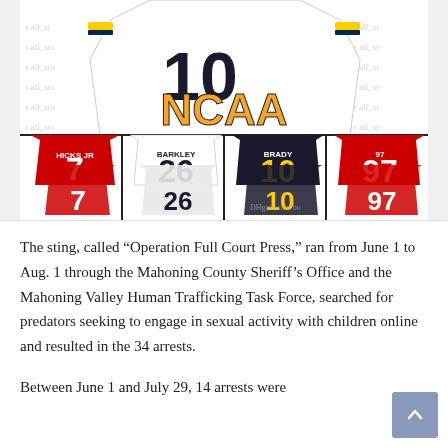[Figure (photo): NCAA football jerseys collage showing multiple college football jerseys including players wearing numbers 7, 26, 10, and 97. The top portion shows a white number 10 Michigan jersey with 'NCAA' in large gold letters. Bottom row shows red jersey #7 (HICKS JR), white jersey #26 (BARKLEY), dark navy jersey #10 (BRADY), and red jersey #97.]
The sting, called “Operation Full Court Press,” ran from June 1 to Aug. 1 through the Mahoning County Sheriff’s Office and the Mahoning Valley Human Trafficking Task Force, searched for predators seeking to engage in sexual activity with children online and resulted in the 34 arrests.
Between June 1 and July 29, 14 arrests were